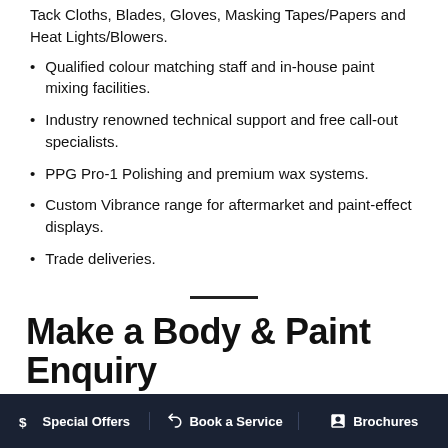Tack Cloths, Blades, Gloves, Masking Tapes/Papers and Heat Lights/Blowers.
Qualified colour matching staff and in-house paint mixing facilities.
Industry renowned technical support and free call-out specialists.
PPG Pro-1 Polishing and premium wax systems.
Custom Vibrance range for aftermarket and paint-effect displays.
Trade deliveries.
Make a Body & Paint Enquiry
$ Special Offers   Book a Service   Brochures